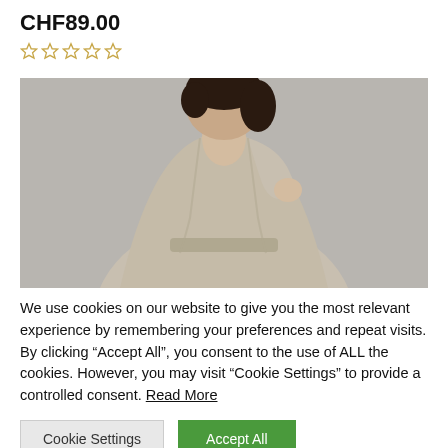CHF89.00
[Figure (other): Five empty star rating icons in gold/yellow outline]
[Figure (photo): Woman wearing a beige/taupe wrap robe or dress with a belt, dark hair, light grey background, upper body shot]
We use cookies on our website to give you the most relevant experience by remembering your preferences and repeat visits. By clicking “Accept All”, you consent to the use of ALL the cookies. However, you may visit “Cookie Settings” to provide a controlled consent. Read More
Cookie Settings | Accept All